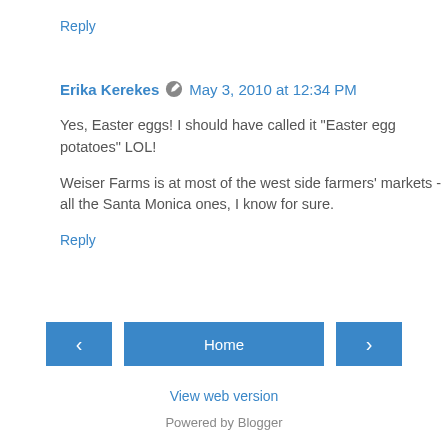Reply
Erika Kerekes  May 3, 2010 at 12:34 PM
Yes, Easter eggs! I should have called it "Easter egg potatoes" LOL!

Weiser Farms is at most of the west side farmers' markets - all the Santa Monica ones, I know for sure.
Reply
Home
View web version
Powered by Blogger